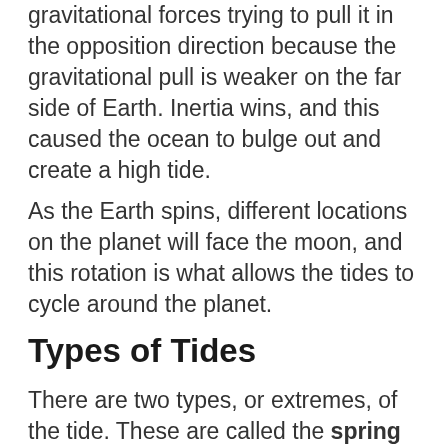gravitational forces trying to pull it in the opposition direction because the gravitational pull is weaker on the far side of Earth. Inertia wins, and this caused the ocean to bulge out and create a high tide.
As the Earth spins, different locations on the planet will face the moon, and this rotation is what allows the tides to cycle around the planet.
Types of Tides
There are two types, or extremes, of the tide. These are called the spring tide (also known as the King tide) and the neap tide. These tide types occur twice every month.